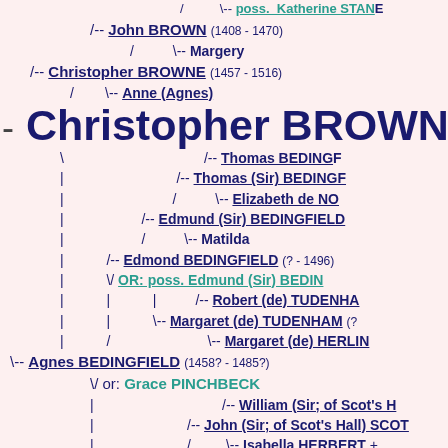[Figure (other): Genealogical family tree chart showing ancestry of Christopher BROWNE, including lines to BROWN, BROWNE, BEDINGFIELD, TUDENHAM, HERLIN, PINCHBECK, SCOTT, HERBERT families with dates and relationships]
/ \-- poss. Katherine STAN[E]
/-- John BROWN (1408 - 1470)
/ \-- Margery
/-- Christopher BROWNE (1457 - 1516)
/ \-- Anne (Agnes)
- Christopher BROWNE
\ /-- Thomas BEDING[FIELD]
| /-- Thomas (Sir) BEDINGF[IELD]
| / \-- Elizabeth de NO[...]
| /-- Edmund (Sir) BEDINGFIELD
| / \-- Matilda
| /-- Edmond BEDINGFIELD (? - 1496)
| \/ OR: poss. Edmund (Sir) BEDIN[GFIELD]
| | /-- Robert (de) TUDENHA[M]
| | \-- Margaret (de) TUDENHAM (?...)
| / \-- Margaret (de) HERLIN[...]
\-- Agnes BEDINGFIELD (1458? - 1485?)
\/ or: Grace PINCHBECK
| /-- William (Sir; of Scot's H[all])
| /-- John (Sir; of Scot's Hall) SCOT[T]
| / \-- Isabella HERBERT +